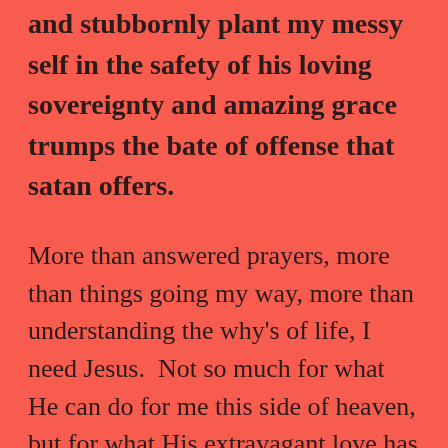and stubbornly plant my messy self in the safety of his loving sovereignty and amazing grace trumps the bate of offense that satan offers.
More than answered prayers, more than things going my way, more than understanding the why's of life, I need Jesus.  Not so much for what He can do for me this side of heaven, but for what His extravagant love has already done